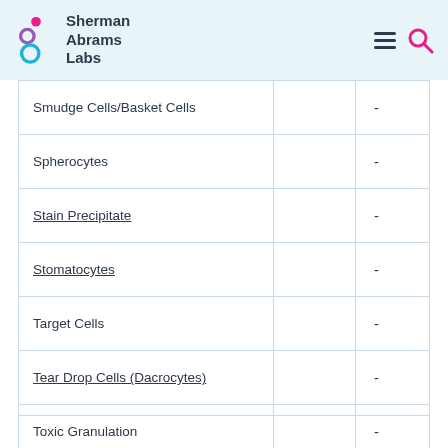Sherman Abrams Labs
|  |  |  |
| --- | --- | --- |
| Smudge Cells/Basket Cells |  | - |
| Spherocytes |  | - |
| Stain Precipitate |  | - |
| Stomatocytes |  | - |
| Target Cells |  | - |
| Tear Drop Cells (Dacrocytes) |  | - |
| Toxic Granulation |  | - |